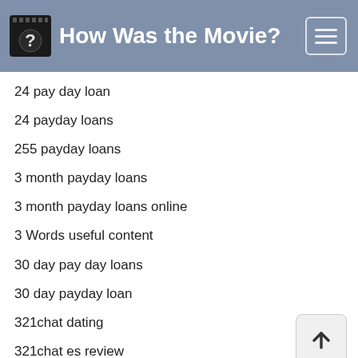How Was the Movie?
24 pay day loan
24 payday loans
255 payday loans
3 month payday loans
3 month payday loans online
3 Words useful content
30 day pay day loans
30 day payday loan
321chat dating
321chat es review
321chat fr review